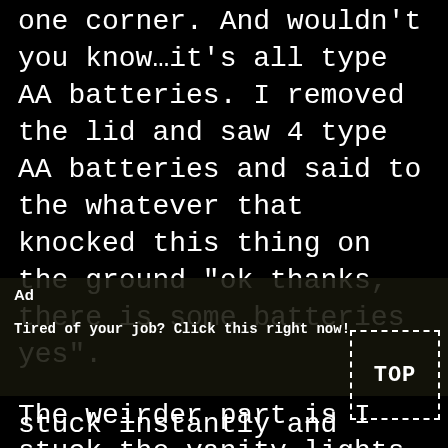one corner. And wouldn't you know…it's all type AA batteries. I removed the lid and saw 4 type AA batteries and said to the whatever that knocked this thing on the ground "ok thanks, there is some batteries yes".
The weirder part is I stuck the vanity lights back on my mirror exactly where they were, where
[Figure (other): Ad overlay banner with text 'Ad' and 'X' close button and message 'Tired of your job? Click this right now!']
[Figure (other): TOP button inside a dashed white border box in the bottom-right corner]
stuck instantly and strong.